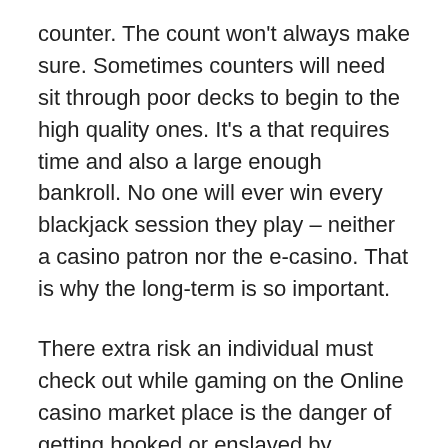counter. The count won't always make sure. Sometimes counters will need sit through poor decks to begin to the high quality ones. It's a that requires time and also a large enough bankroll. No one will ever win every blackjack session they play – neither a casino patron nor the e-casino. That is why the long-term is so important.
There extra risk an individual must check out while gaming on the Online casino market place is the danger of getting hooked or enslaved by casinos. Naturally, this risk is there in nearly every casino, whether you play online or offline. You can't view gambling as a method to a few extra funds. It's only a kind of home theater. If you gain some bucks, that is good. Nevertheless, you should view that simply because the bonus,